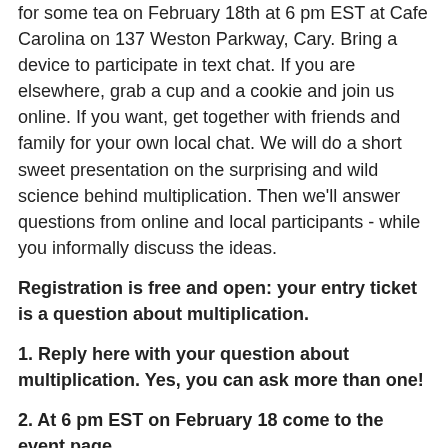for some tea on February 18th at 6 pm EST at Cafe Carolina on 137 Weston Parkway, Cary. Bring a device to participate in text chat. If you are elsewhere, grab a cup and a cookie and join us online. If you want, get together with friends and family for your own local chat. We will do a short sweet presentation on the surprising and wild science behind multiplication. Then we'll answer questions from online and local participants - while you informally discuss the ideas.
Registration is free and open: your entry ticket is a question about multiplication.
1. Reply here with your question about multiplication. Yes, you can ask more than one!
2. At 6 pm EST on February 18 come to the event page http://moebiusnoodles.com/mathcafe/ for an embedded video stream and live chat, or use Twitter hashtag #MathCafe to participate.
[Figure (other): Broken/missing image placeholder]
What is multiplication? Well, it's when you multiply